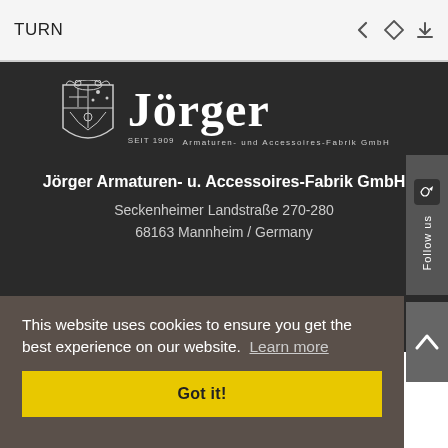TURN
[Figure (logo): Jörger Armaturen- und Accessoires-Fabrik GmbH logo with heraldic crest and company name]
Jörger Armaturen- u. Accessoires-Fabrik GmbH
Seckenheimer Landstraße 270-280
68163 Mannheim / Germany
This website uses cookies to ensure you get the best experience on our website. Learn more
Got it!